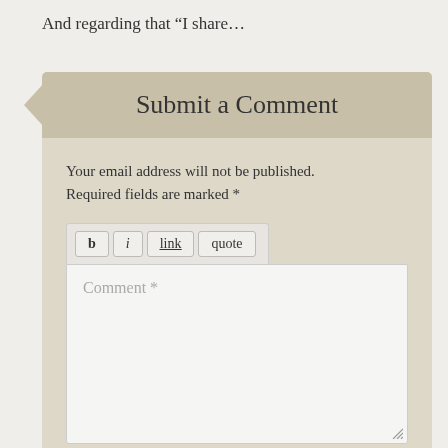And regarding that “I share…
Submit a Comment
Your email address will not be published. Required fields are marked *
[Figure (screenshot): Comment form with toolbar buttons (b, i, link, quote), a comment textarea with placeholder 'Comment *', and a name field with placeholder 'Name *']